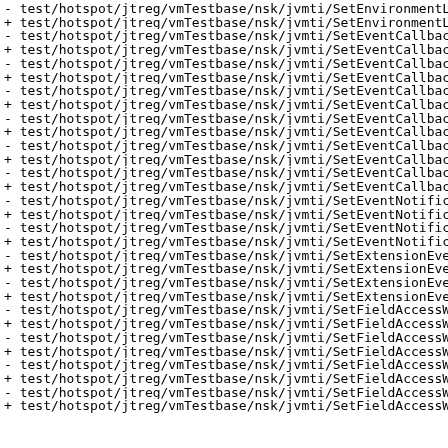- test/hotspot/jtreg/vmTestbase/nsk/jvmti/SetEnvironmentL
+ test/hotspot/jtreg/vmTestbase/nsk/jvmti/SetEnvironmentL
- test/hotspot/jtreg/vmTestbase/nsk/jvmti/SetEventCallbac
+ test/hotspot/jtreg/vmTestbase/nsk/jvmti/SetEventCallbac
- test/hotspot/jtreg/vmTestbase/nsk/jvmti/SetEventCallbac
+ test/hotspot/jtreg/vmTestbase/nsk/jvmti/SetEventCallbac
- test/hotspot/jtreg/vmTestbase/nsk/jvmti/SetEventCallbac
+ test/hotspot/jtreg/vmTestbase/nsk/jvmti/SetEventCallbac
- test/hotspot/jtreg/vmTestbase/nsk/jvmti/SetEventCallbac
+ test/hotspot/jtreg/vmTestbase/nsk/jvmti/SetEventCallbac
- test/hotspot/jtreg/vmTestbase/nsk/jvmti/SetEventCallbac
+ test/hotspot/jtreg/vmTestbase/nsk/jvmti/SetEventCallbac
- test/hotspot/jtreg/vmTestbase/nsk/jvmti/SetEventCallbac
+ test/hotspot/jtreg/vmTestbase/nsk/jvmti/SetEventCallbac
- test/hotspot/jtreg/vmTestbase/nsk/jvmti/SetEventNotific
+ test/hotspot/jtreg/vmTestbase/nsk/jvmti/SetEventNotific
- test/hotspot/jtreg/vmTestbase/nsk/jvmti/SetEventNotific
+ test/hotspot/jtreg/vmTestbase/nsk/jvmti/SetEventNotific
- test/hotspot/jtreg/vmTestbase/nsk/jvmti/SetExtensionEve
+ test/hotspot/jtreg/vmTestbase/nsk/jvmti/SetExtensionEve
- test/hotspot/jtreg/vmTestbase/nsk/jvmti/SetExtensionEve
+ test/hotspot/jtreg/vmTestbase/nsk/jvmti/SetExtensionEve
- test/hotspot/jtreg/vmTestbase/nsk/jvmti/SetFieldAccessW
+ test/hotspot/jtreg/vmTestbase/nsk/jvmti/SetFieldAccessW
- test/hotspot/jtreg/vmTestbase/nsk/jvmti/SetFieldAccessW
+ test/hotspot/jtreg/vmTestbase/nsk/jvmti/SetFieldAccessW
- test/hotspot/jtreg/vmTestbase/nsk/jvmti/SetFieldAccessW
+ test/hotspot/jtreg/vmTestbase/nsk/jvmti/SetFieldAccessW
- test/hotspot/jtreg/vmTestbase/nsk/jvmti/SetFieldAccessW
+ test/hotspot/jtreg/vmTestbase/nsk/jvmti/SetFieldAccessW